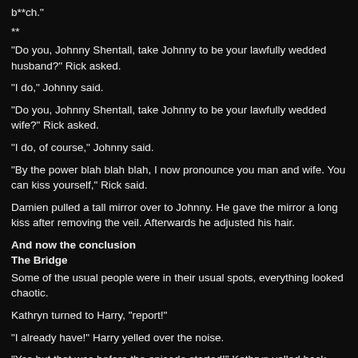b**ch."
**
"Do you, Johnny Shentall, take Johnny to be your lawfully wedded husband?" Rick asked.
"I do," Johnny said.
"Do you, Johnny Shentall, take Johnny to be your lawfully wedded wife?" Rick asked.
"I do, of course," Johnny said.
"By the power blah blah blah, I now pronounce you man and wife. You can kiss yourself," Rick said.
Damien pulled a tall mirror over to Johnny. He gave the mirror a long kiss after removing the veil. Afterwards he adjusted his hair.
And now the conclusion
The Bridge
Some of the usual people were in their usual spots, everything looked chaotic.
Kathryn turned to Harry, "report!"
"I already have!" Harry yelled over the noise.
"Yes but that was before the episode started!" Kathryn yelled back.